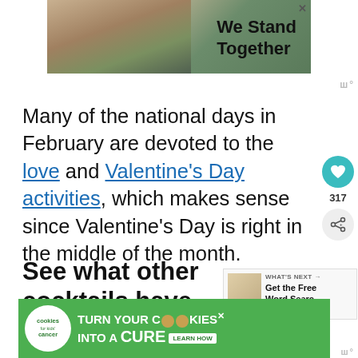[Figure (photo): Advertisement banner at top showing group of people with backs turned, hugging, with text 'We Stand Together' and a close button X]
Many of the national days in February are devoted to the love and Valentine's Day activities, which makes sense since Valentine's Day is right in the middle of the month.
See what other cocktails have to enjoy:
[Figure (other): What's Next widget showing 'Get the Free Word Searc...' with a small image thumbnail]
[Figure (other): Advertisement banner at bottom: 'cookies for kids' cancer - turn your COOKIES into a CURE LEARN HOW' on green background]